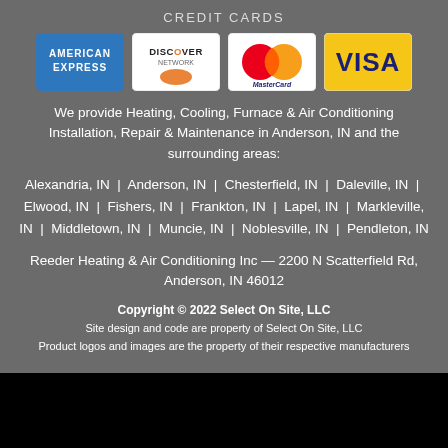CREDIT CARDS
[Figure (logo): Credit card logos: American Express, Discover Network, MasterCard, Visa]
We provide Heating, Cooling, Furnace & Air Conditioning Installation, Repair & Maintenance in Anderson, IN and the surrounding areas:
Alexandria, IN  |  Anderson, IN  |  Chesterfield, IN  |  Daleville, IN  |  Elwood, IN  |  Fishers, IN  |  Frankton, IN  |  Lapel, IN  |  Markleville, IN  |  Middletown, IN  |  Muncie, IN  |  Noblesville, IN  |  Pendleton, IN
Reeder Heating & Air Conditioning Inc — 2200 N Scatterfield Rd, Anderson, IN 46012
Copyright © 2022 Select On Site, LLC
Site design and code are property of Select On Site, LLC
Product logos and images are the property of their respective manufacturers